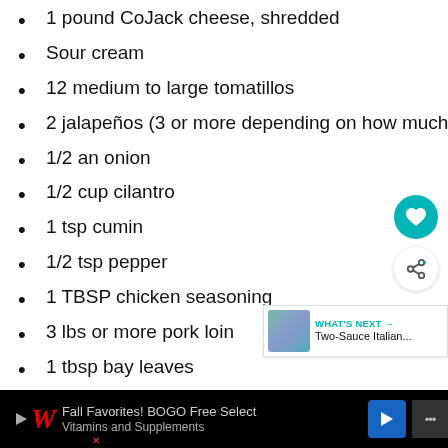1 pound CoJack cheese, shredded
Sour cream
12 medium to large tomatillos
2 jalapeños (3 or more depending on how much spice you like.)
1/2 an onion
1/2 cup cilantro
1 tsp cumin
1/2 tsp pepper
1 TBSP chicken seasoning
3 lbs or more pork loin
1 tbsp bay leaves
1 tbsp ground cumin
1 tbsp salt
1 tbsp pepper
[Figure (screenshot): Advertisement bar at bottom: Walgreens ad for Fall Favorites BOGO Free Select Vitamins and Supplements, with navigation button and close button]
[Figure (infographic): Sidebar with teal heart icon, share icon, and What's Next panel showing Two-Sauce Italian recipe thumbnail]